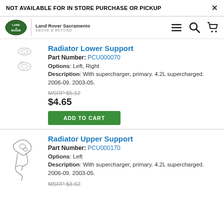NOT AVAILABLE FOR IN STORE PURCHASE OR PICKUP
[Figure (logo): Land Rover logo with oval green badge and text 'Land Rover Sacramento']
Radiator Lower Support
Part Number: PCU000070
Options: Left, Right
Description: With supercharger, primary. 4.2L supercharged. 2006-09. 2003-05.
MSRP $5.12
$4.65
Radiator Upper Support
Part Number: PCU000170
Options: Left
Description: With supercharger, primary. 4.2L supercharged. 2006-09. 2003-05.
MSRP $3.52